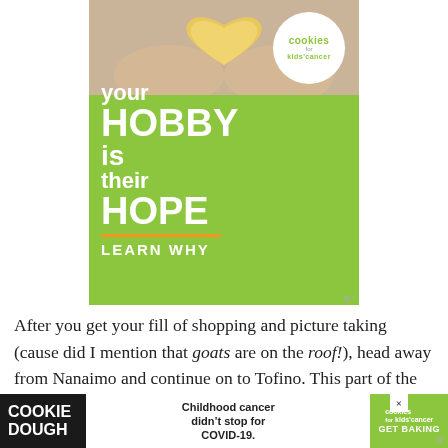[Figure (infographic): Advertisement for 'Cookies for Kids' Cancer' charity. Green background with hands holding a heart-shaped cookie. White circular logo with 'cookies for kids' cancer'. Text reads: 'your HOBBY is their HOPE' with orange underline, then 'LEARN WHY'.]
After you get your fill of shopping and picture taking (cause did I mention that goats are on the roof!), head away from Nanaimo and continue on to Tofino. This part of the drive gets super, jaw-droppingly gorgeous with massively tall mountains framing de...
[Figure (infographic): Bottom advertisement banner. Left: 'COOKIE DOUGH' in white bold text on dark background. Middle: 'Childhood cancer didn't stop for COVID-19.' on white background. Right: 'cookies for kids' cancer GET BAKING' on green background. Close X button visible.]